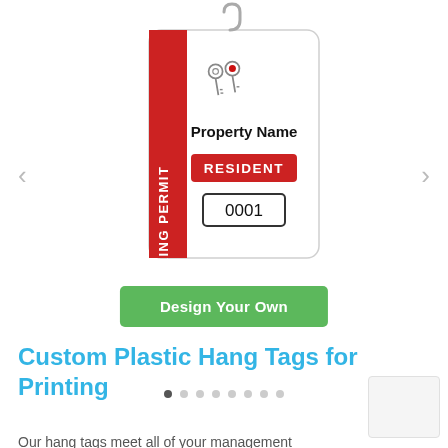[Figure (illustration): A custom plastic hang tag for parking permits. The tag has a white background with a red vertical banner on the left side reading 'PARKING PERMIT' in white rotated text. The right side shows a keys icon at the top, then 'Property Name' in bold text, a red banner reading 'RESIDENT' in white, and a numbered box showing '0001'. The tag has a hook at the top for hanging.]
[Figure (other): Carousel dot indicators: 8 dots in a row, the first one dark/active and the rest light gray]
[Figure (other): Green 'Design Your Own' button]
Custom Plastic Hang Tags for Printing
Our hang tags meet all of your management...